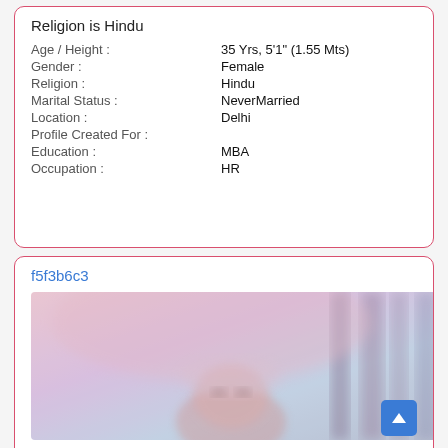Religion is Hindu
| Age / Height : | 35 Yrs, 5'1" (1.55 Mts) |
| Gender : | Female |
| Religion : | Hindu |
| Marital Status : | NeverMarried |
| Location : | Delhi |
| Profile Created For : |  |
| Education : | MBA |
| Occupation : | HR |
f5f3b6c3
[Figure (photo): Blurred profile photo of a person, partially visible face, taken outdoors with pink and purple blurred background suggesting architectural elements.]